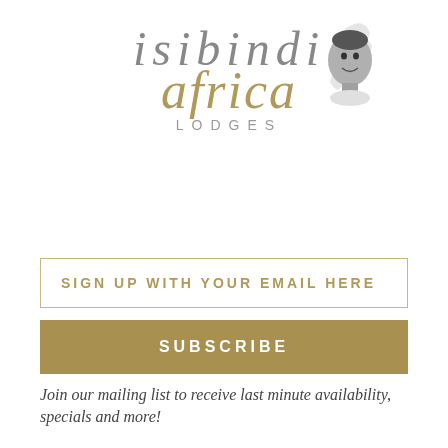[Figure (logo): Isibindi Africa Lodges logo with italic serif 'isibindi' in grey, cursive gold 'africa', spaced caps 'LODGES', and a small black-and-white photo of a smiling child with Africa continent outline in the top-right corner]
SIGN UP WITH YOUR EMAIL HERE
SUBSCRIBE
Join our mailing list to receive last minute availability, specials and more!